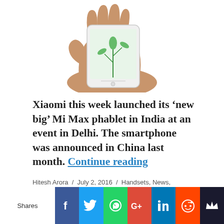[Figure (photo): A hand holding a white Xiaomi smartphone displaying a green plant/bamboo on its screen]
Xiaomi this week launched its ‘new big’ Mi Max phablet in India at an event in Delhi. The smartphone was announced in China last month. Continue reading
Hitesh Arora / July 2, 2016 / Handsets, News, Roundup / bang and olufsen, hp, iBall, LYF, micromax, Nubia, Reliance, sandisk, WD, Wileyfox, Xiaomi, ZTE / 2 Comments
[Figure (infographic): Social sharing bar with Facebook, Twitter, WhatsApp, Google+, LinkedIn, Reddit, and MeWe share buttons]